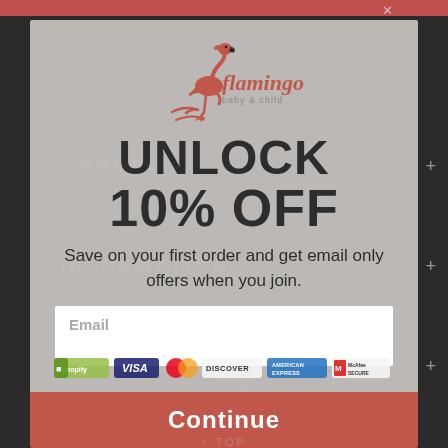[Figure (screenshot): Website popup modal for Flamingo Baby & Child store. Shows a flamingo logo at top, large text 'UNLOCK' and '10% OFF', a subheading about saving on first order with email offers, an email input field, payment icons row, and a coral Continue button. Background shows dark website layout with SHOP, INFORMATION, ORDERS navigation items faded behind the modal.]
UNLOCK
10% OFF
Save on your first order and get email only offers when you join.
Email
Continue